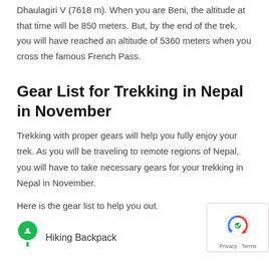Dhaulagiri V (7618 m). When you are Beni, the altitude at that time will be 850 meters. But, by the end of the trek, you will have reached an altitude of 5360 meters when you cross the famous French Pass.
Gear List for Trekking in Nepal in November
Trekking with proper gears will help you fully enjoy your trek. As you will be traveling to remote regions of Nepal, you will have to take necessary gears for your trekking in Nepal in November.
Here is the gear list to help you out.
Hiking Backpack